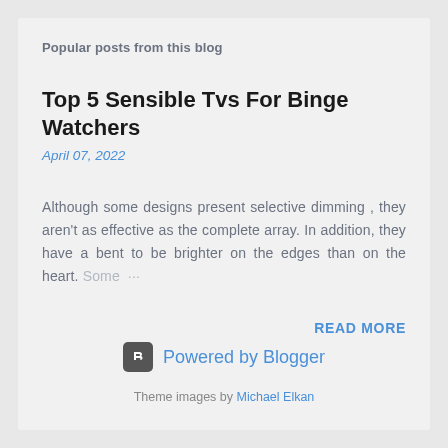Popular posts from this blog
Top 5 Sensible Tvs For Binge Watchers
April 07, 2022
Although some designs present selective dimming , they aren't as effective as the complete array. In addition, they have a bent to be brighter on the edges than on the heart. Some ...
READ MORE
[Figure (logo): Blogger logo icon - rounded square with B letter]
Powered by Blogger
Theme images by Michael Elkan